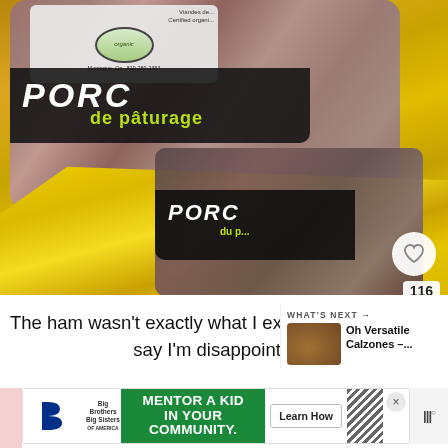[Figure (photo): Packaged pork products labeled 'PORC de pâturage' (pasture-raised pork) with certified organic labeling, wrapped in bright yellow plastic bags. The packages show dark labels with white and lime-green text. A heart/like button showing 116 likes and a share button are visible on the right side.]
The ham wasn't exactly what I expected... say I'm disappointed.
[Figure (photo): Small thumbnail image next to 'WHAT'S NEXT' label with text 'Oh Versatile Calzones –...']
[Figure (other): Advertisement banner: Big Brothers Big Sisters logo, green background with text 'MENTOR A KID IN YOUR COMMUNITY.' and a 'Learn How' button.]